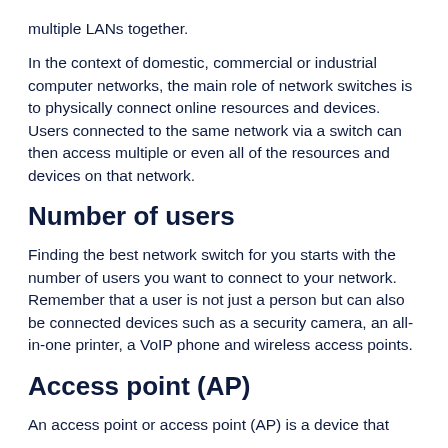multiple LANs together.
In the context of domestic, commercial or industrial computer networks, the main role of network switches is to physically connect online resources and devices. Users connected to the same network via a switch can then access multiple or even all of the resources and devices on that network.
Number of users
Finding the best network switch for you starts with the number of users you want to connect to your network. Remember that a user is not just a person but can also be connected devices such as a security camera, an all-in-one printer, a VoIP phone and wireless access points.
Access point (AP)
An access point or access point (AP) is a device that